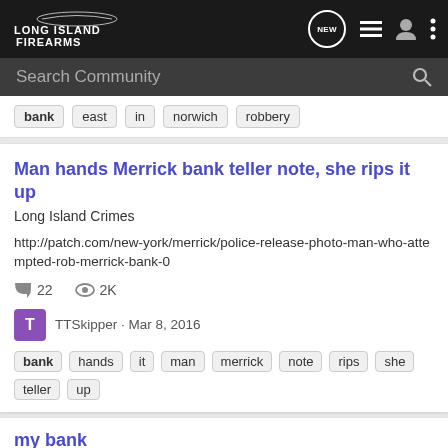Long Island Firearms — navigation bar with logo, NEW button, list icon, user icon, menu icon
Search Community
bank  east  in  norwich  robbery
Man hands Merrick bank teller note, she rips it up
Long Island Crimes
http://patch.com/new-york/merrick/police-release-photo-man-who-attempted-rob-merrick-bank-0
22 comments  2K views
TTSkipper · Mar 8, 2016
bank  hands  it  man  merrick  note  rips  she  teller  up
my bank